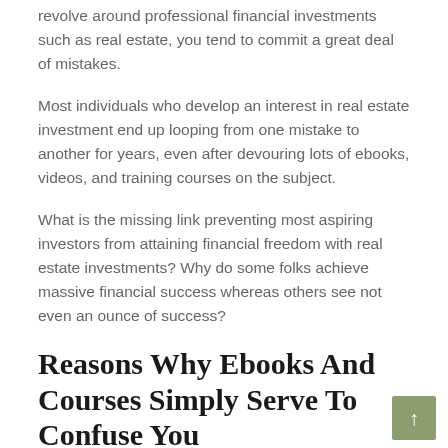revolve around professional financial investments such as real estate, you tend to commit a great deal of mistakes.
Most individuals who develop an interest in real estate investment end up looping from one mistake to another for years, even after devouring lots of ebooks, videos, and training courses on the subject.
What is the missing link preventing most aspiring investors from attaining financial freedom with real estate investments? Why do some folks achieve massive financial success whereas others see not even an ounce of success?
Reasons Why Ebooks And Courses Simply Serve To Confuse You